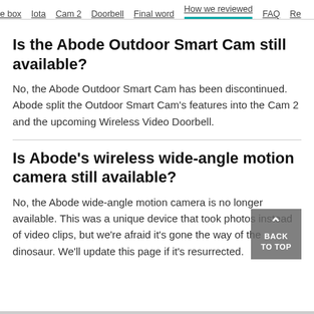e box   Iota   Cam 2   Doorbell   Final word   How we reviewed   FAQ   Re
Is the Abode Outdoor Smart Cam still available?
No, the Abode Outdoor Smart Cam has been discontinued. Abode split the Outdoor Smart Cam's features into the Cam 2 and the upcoming Wireless Video Doorbell.
Is Abode's wireless wide-angle motion camera still available?
No, the Abode wide-angle motion camera is no longer available. This was a unique device that took photos instead of video clips, but we're afraid it's gone the way of the dinosaur. We'll update this page if it's resurrected.